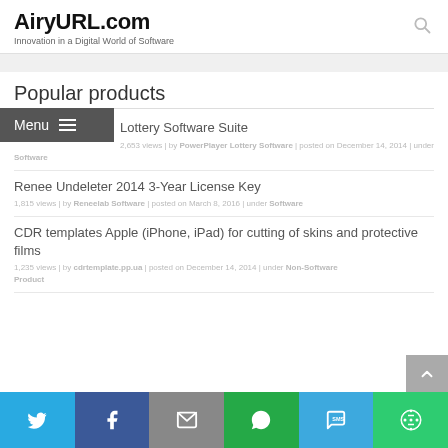AiryURL.com — Innovation in a Digital World of Software
Popular products
Lottery Software Suite — 2,653 views | by PowerPlayer Lottery Software | posted on December 14, 2014 | under Software
Renee Undeleter 2014 3-Year License Key — 1,815 views | by Reneelab Software | posted on March 8, 2016 | under Software
CDR templates Apple (iPhone, iPad) for cutting of skins and protective films — 1,235 views | by cdrtemplate.pp.ua | posted on December 14, 2014 | under Non-Software Product